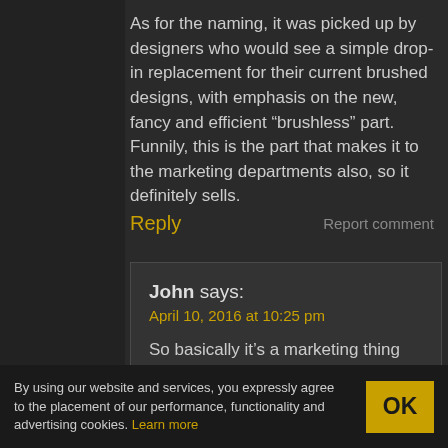As for the naming, it was picked up by designers who would see a simple drop-in replacement for their current brushed designs, with emphasis on the new, fancy and efficient “brushless” part. Funnily, this is the part that makes it to the marketing departments also, so it definitely sells.
Reply
Report comment
John says:
April 10, 2016 at 10:25 pm
So basically it’s a marketing thing done to confuse technical people so that the people whose shirt sleeves are slightly too long to
By using our website and services, you expressly agree to the placement of our performance, functionality and advertising cookies. Learn more